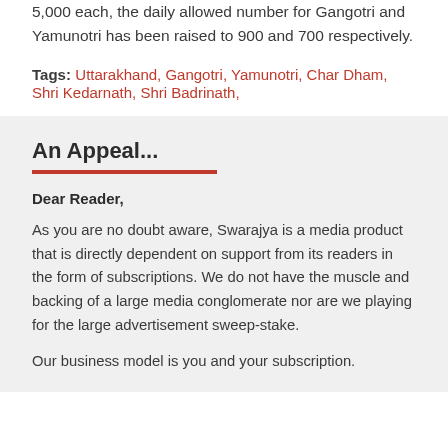5,000 each, the daily allowed number for Gangotri and Yamunotri has been raised to 900 and 700 respectively.
Tags: Uttarakhand, Gangotri, Yamunotri, Char Dham, Shri Kedarnath, Shri Badrinath,
An Appeal...
Dear Reader,
As you are no doubt aware, Swarajya is a media product that is directly dependent on support from its readers in the form of subscriptions. We do not have the muscle and backing of a large media conglomerate nor are we playing for the large advertisement sweep-stake.
Our business model is you and your subscription.